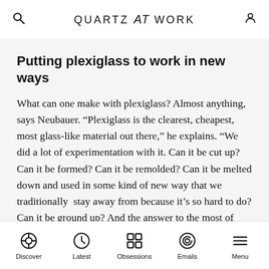QUARTZ at WORK
Putting plexiglass to work in new ways
What can one make with plexiglass? Almost anything, says Neubauer. “Plexiglass is the clearest, cheapest, most glass-like material out there,” he explains. “We did a lot of experimentation with it. Can it be cut up?  Can it be formed? Can it be remolded? Can it be melted down and used in some kind of new way that we traditionally  stay away from because it’s so hard to do? Can it be ground up? And the answer to the most of these questions was ‘yes, but.’ It was really interesting to see the possibilities.”
Discover  Latest  Obsessions  Emails  Menu